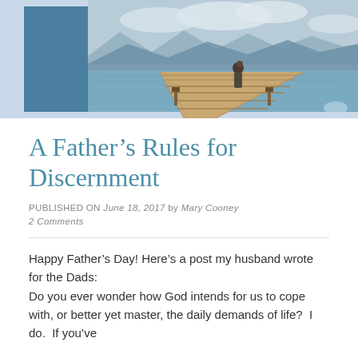[Figure (photo): A person standing at the end of a wooden dock over a lake, holding a child, with mountains in the background. A blue rectangle appears on the left side of the image.]
A Father’s Rules for Discernment
PUBLISHED ON June 18, 2017 by Mary Cooney
2 Comments
Happy Father’s Day! Here’s a post my husband wrote for the Dads:
Do you ever wonder how God intends for us to cope with, or better yet master, the daily demands of life?  I do.  If you’ve